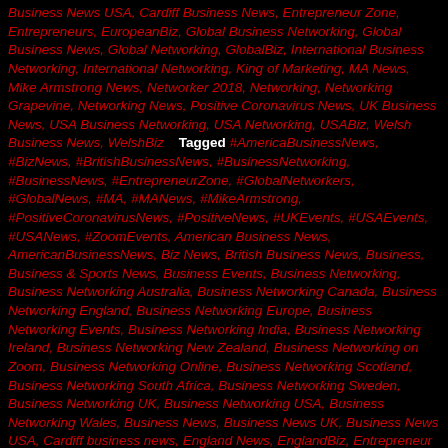Business News USA, Cardiff Business News, Entrepreneur Zone, Entrepreneurs, EuropeanBiz, Global Business Networking, Global Business News, Global Networking, GlobalBiz, International Business Networking, International Networking, King of Marketing, MA News, Mike Armstrong News, Networker 2018, Networking, Networking Grapevine, Networking News, Positive Coronavirus News, UK Business News, USA Business Networking, USA Networking, USABiz, Welsh Business News, WelshBiz   Tagged #AmericaBusinessNews, #BizNews, #BritishBusinessNews, #BusinessNetworking, #BusinessNews, #EntrepreneurZone, #GlobalNetworkers, #GlobalNews, #MA, #MANews, #MikeArmstrong, #PositiveCoronavirusNews, #PositiveNews, #UKEvents, #USAEvents, #USANews, #ZoomEvents, American Business News, AmericanBusinessNews, Biz News, British Business News, Business, Business & Sports News, Business Events, Business Networking, Business Networking Australia, Business Networking Canada, Business Networking England, Business Networking Europe, Business Networking Events, Business Networking India, Business Networking Ireland, Business Networking New Zealand, Business Networking on Zoom, Business Networking Online, Business Networking Scotland, Business Networking South Africa, Business Networking Sweden, Business Networking UK, Business Networking USA, Business Networking Wales, Business News, Business News UK, Business News USA, Cardiff business news, England News, EnglandBiz, Entrepreneur Zone, Entrepreneurs, Entrepreneurship, EuropeanBiz,